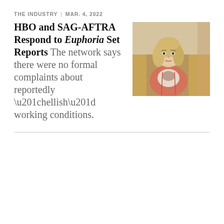THE INDUSTRY | MAR. 4, 2022
HBO and SAG-AFTRA Respond to Euphoria Set Reports
The network says there were no formal complaints about reportedly “hellish” working conditions.
[Figure (photo): A young woman with blonde hair wearing a salmon/coral cardigan over a patterned top, seated in what appears to be an auditorium or classroom setting with wooden chairs.]